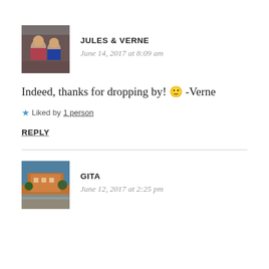[Figure (photo): Avatar photo of Jules & Verne — people inside a vehicle]
JULES & VERNE
June 14, 2017 at 8:09 am
Indeed, thanks for dropping by! 🙂 -Verne
★ Liked by 1 person
REPLY
[Figure (photo): Avatar photo of Gita — outdoor resort or building scene]
GITA
June 12, 2017 at 2:25 pm